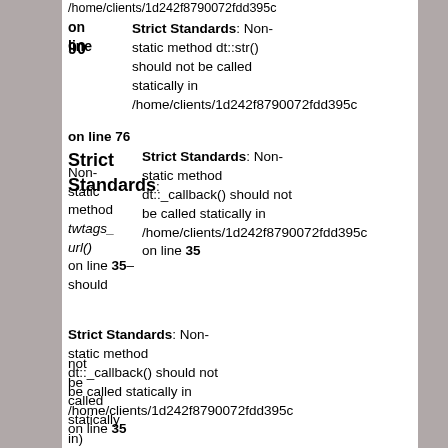/home/clients/1d242f8790072fdd395c on line 90 Strict Standards: Non-static method dt::str() should not be called statically in /home/clients/1d242f8790072fdd395c on line 76 Strict Standards: Non-static method dt::_callback() should not be called statically in /home/clients/1d242f8790072fdd395c on line 35 Strict Standards: Non-static method dt::_callback() should not be called statically in /home/clients/1d242f8790072fdd395c on line 35 /home/clients/1d242f8790072fdd395c on line static method dt::str() should not be called statically in /home/clients/1d242f8790072fdd395c on line 76 Strict Standards: Non-static method dt::_callback() should not be called statically in dt::_callback() should not
Strict Standards: Non-static method dt::str() should not be called statically in /home/clients/1d242f8790072fdd395c on line 76
Strict Standards: Non-static method dt::_callback() should not be called statically in /home/clients/1d242f8790072fdd395c on line 35
Strict Standards: Non-static method dt::_callback() should not be called statically in /home/clients/1d242f8790072fdd395c on line 35
/home/clients/1d242f8790072fdd on line static method dt::str() should not be called statically in /home/clients/1d242f8790072fdd395c on line 76
Strict Standards: Non-static method dt::_callback() should not
Strict Standards: Non-static method dt::callback() should not